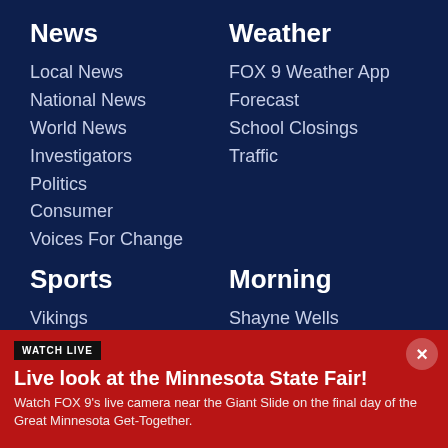News
Local News
National News
World News
Investigators
Politics
Consumer
Voices For Change
Weather
FOX 9 Weather App
Forecast
School Closings
Traffic
Sports
Vikings
Gophers
Twins
Morning
Shayne Wells
Garden Guy
Recipes
WATCH LIVE
Live look at the Minnesota State Fair!
Watch FOX 9's live camera near the Giant Slide on the final day of the Great Minnesota Get-Together.